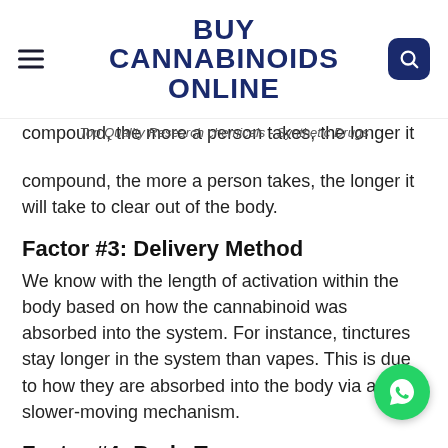BUY CANNABINOIDS ONLINE
Top Quality Research chemicals - Synthetic Drugs
compound, the more a person takes, the longer it will take to clear out of the body.
Factor #3: Delivery Method
We know with the length of activation within the body based on how the cannabinoid was absorbed into the system. For instance, tinctures stay longer in the system than vapes. This is due to how they are absorbed into the body via a slower-moving mechanism.
Factor #4: Body Type
Yes, your body is unique, hence, everyone